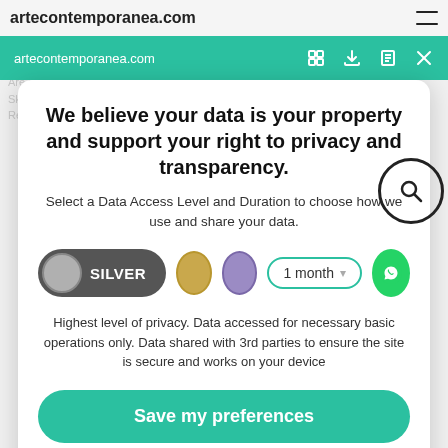artecontemporanea.com
We believe your data is your property and support your right to privacy and transparency.
Select a Data Access Level and Duration to choose how we use and share your data.
[Figure (infographic): Privacy level selector showing SILVER toggle (dark grey pill with grey circle), gold circle, purple circle, 1 month selector, and WhatsApp button]
Highest level of privacy. Data accessed for necessary basic operations only. Data shared with 3rd parties to ensure the site is secure and works on your device
Save my preferences
Customize
Privacy policy